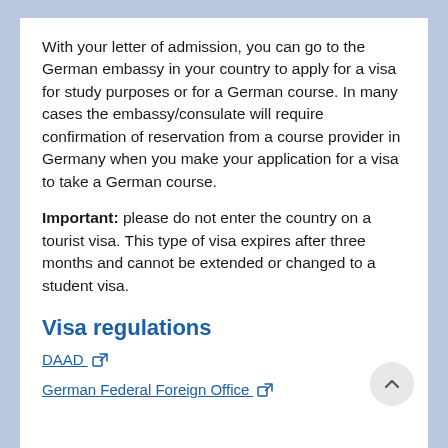With your letter of admission, you can go to the German embassy in your country to apply for a visa for study purposes or for a German course. In many cases the embassy/consulate will require confirmation of reservation from a course provider in Germany when you make your application for a visa to take a German course.
Important: please do not enter the country on a tourist visa. This type of visa expires after three months and cannot be extended or changed to a student visa.
Visa regulations
DAAD [external link]
German Federal Foreign Office [external link]